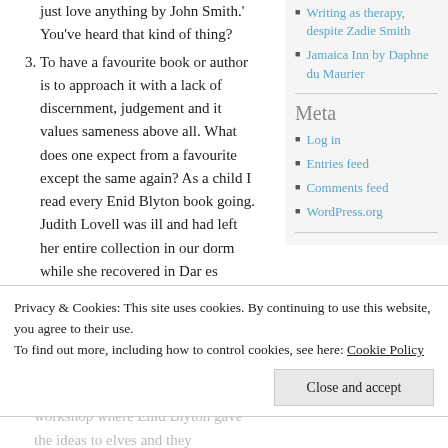just love anything by John Smith.' You've heard that kind of thing?
3. To have a favourite book or author is to approach it with a lack of discernment, judgement and it values sameness above all. What does one expect from a favourite except the same again? As a child I read every Enid Blyton book going. Judith Lovell was ill and had left her entire collection in our dorm while she recovered in Dar es Salaam. We devoured them until we began to realise they were so much the same that they bored us. Formulaic was not a word we
• bottom of shop. We attended a workshop where Enid Blyton gave the ideas to elves and they concocted books to her recipes. And then we gave up
Writing as therapy, despite Zadie Smith
Jamaica Inn by Daphne du Maurier
Meta
Log in
Entries feed
Comments feed
WordPress.org
Privacy & Cookies: This site uses cookies. By continuing to use this website, you agree to their use. To find out more, including how to control cookies, see here: Cookie Policy
Close and accept